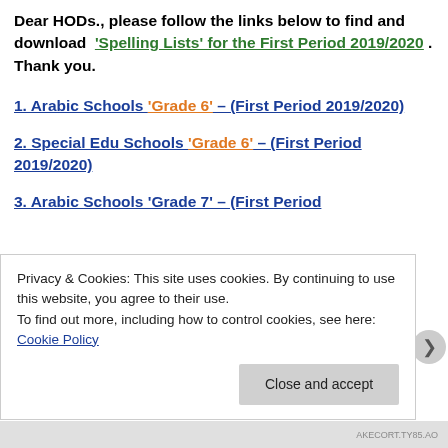Dear HODs., please follow the links below to find and download 'Spelling Lists' for the First Period 2019/2020 . Thank you.
1. Arabic Schools 'Grade 6' – (First Period 2019/2020)
2. Special Edu Schools 'Grade 6' – (First Period 2019/2020)
3. Arabic Schools 'Grade 7' – (First Period
Privacy & Cookies: This site uses cookies. By continuing to use this website, you agree to their use. To find out more, including how to control cookies, see here: Cookie Policy